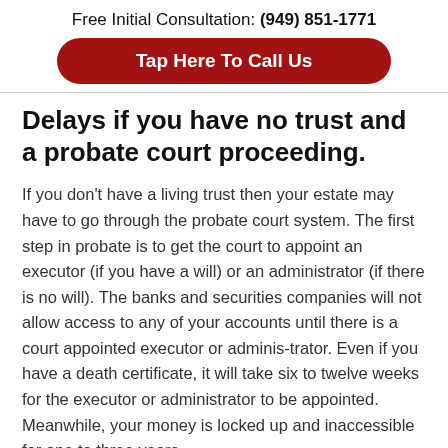Free Initial Consultation: (949) 851-1771
Tap Here To Call Us
Delays if you have no trust and a probate court proceeding.
If you don't have a living trust then your estate may have to go through the probate court system. The first step in probate is to get the court to appoint an executor (if you have a will) or an administrator (if there is no will). The banks and securities companies will not allow access to any of your accounts until there is a court appointed executor or adminis-trator. Even if you have a death certificate, it will take six to twelve weeks for the executor or administrator to be appointed. Meanwhile, your money is locked up and inaccessible for one to three years.